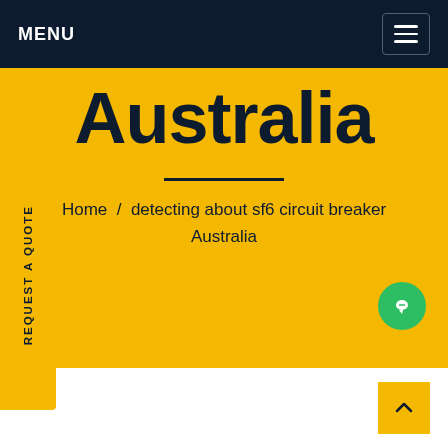MENU
Australia
Home / detecting about sf6 circuit breaker Australia
REQUEST A QUOTE